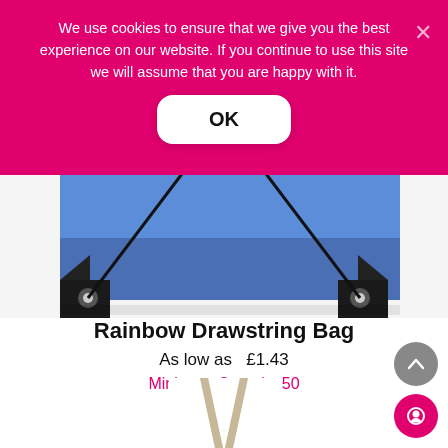We use cookies to ensure that we give you the best experience on our website. If you continue to use this site we will assume that you are happy with it.
[Figure (screenshot): Cookie consent banner with OK button on pink/magenta background with X close button]
[Figure (photo): Blue and darker blue two-tone drawstring bag (Rainbow Drawstring Bag) showing bottom portion with black corner reinforcements and metal eyelets]
Rainbow Drawstring Bag
As low as  £1.43
Minimum Quantity 50
[Figure (photo): Partial view of another drawstring bag at bottom of page (beige/natural color, only top portion visible)]